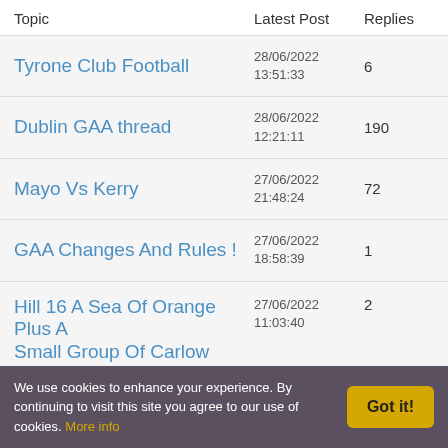| Topic | Latest Post | Replies |
| --- | --- | --- |
| Tyrone Club Football | 28/06/2022 13:51:33 | 6 |
| Dublin GAA thread | 28/06/2022 12:21:11 | 190 |
| Mayo Vs Kerry | 27/06/2022 21:48:24 | 72 |
| GAA Changes And Rules ! | 27/06/2022 18:58:39 | 1 |
| Hill 16 A Sea Of Orange Plus A Small Group Of Carlow | 27/06/2022 11:03:40 | 2 |
We use cookies to enhance your experience. By continuing to visit this site you agree to our use of cookies. More info